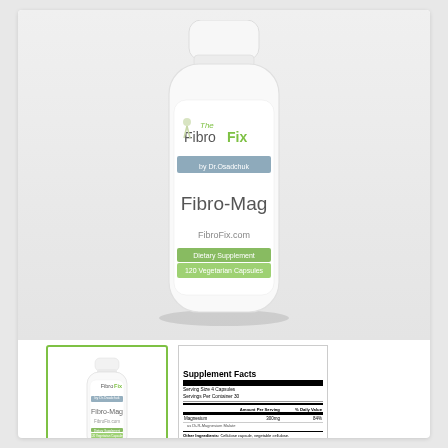[Figure (photo): White supplement bottle labeled 'The FibroFix by Dr.Osadchuk — Fibro-Mag — FibroFix.com — Dietary Supplement — 120 Vegetarian Capsules' shown on light gray background.]
[Figure (photo): Thumbnail of the same Fibro-Mag supplement bottle, smaller view, with green border.]
[Figure (table-as-image): Supplement Facts panel showing: Serving Size 4 Capsules, Servings Per Container 30, Magnesium 300mg 84%, as Di-R-Magnesium Malate. Other Ingredients: Cellulose capsule, vegetable cellulose.]